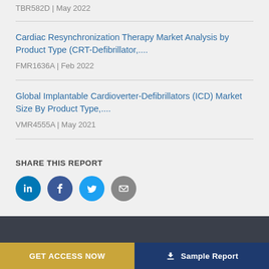TBR582D | May 2022
Cardiac Resynchronization Therapy Market Analysis by Product Type (CRT-Defibrillator,...
FMR1636A | Feb 2022
Global Implantable Cardioverter-Defibrillators (ICD) Market Size By Product Type,...
VMR4555A | May 2021
SHARE THIS REPORT
[Figure (other): Social share icons: LinkedIn, Facebook, Twitter, Email]
GET ACCESS NOW | Sample Report